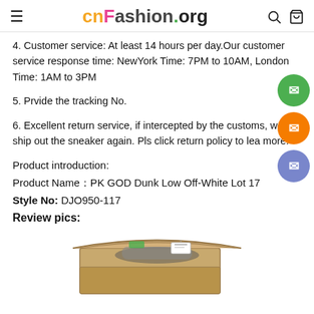cnFashion.org
4. Customer service: At least 14 hours per day.Our customer service response time: NewYork Time: 7PM to 10AM, London Time: 1AM to 3PM
5. Prvide the tracking No.
6. Excellent return service, if intercepted by the customs, we will ship out the sneaker again. Pls click return policy to lea more.
Product introduction:
Product Name：PK GOD Dunk Low Off-White Lot 17
Style No: DJO950-117
Review pics:
[Figure (photo): A brown cardboard shoe box open, showing sneakers with tags and labels inside]